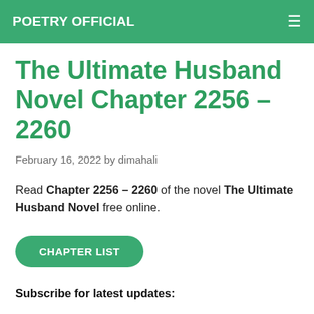POETRY OFFICIAL
The Ultimate Husband Novel Chapter 2256 – 2260
February 16, 2022 by dimahali
Read Chapter 2256 – 2260 of the novel The Ultimate Husband Novel free online.
CHAPTER LIST
Subscribe for latest updates: